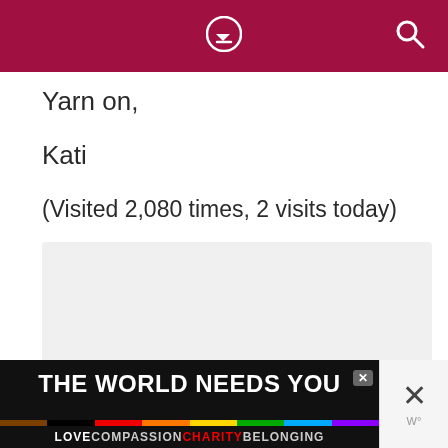Yarn on,
Kati
(Visited 2,080 times, 2 visits today)
[Figure (other): Gray placeholder content box with a chevron/up arrow icon and three pagination dots]
[Figure (infographic): Advertisement banner: THE WORLD NEEDS YOU with rainbow stripes and text LOVE COMPASSION CHARITY BELONGING]